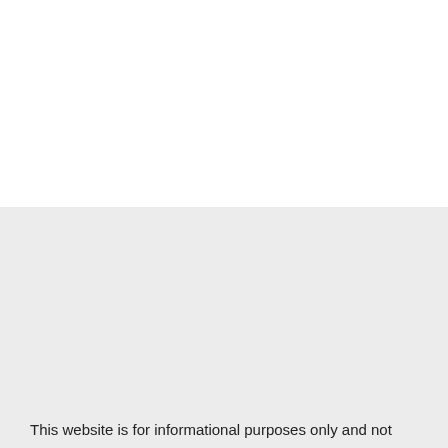This website is for informational purposes only and not